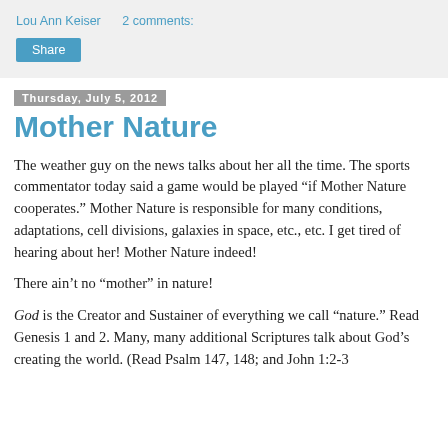Lou Ann Keiser   2 comments:
Share
Thursday, July 5, 2012
Mother Nature
The weather guy on the news talks about her all the time. The sports commentator today said a game would be played “if Mother Nature cooperates.” Mother Nature is responsible for many conditions, adaptations, cell divisions, galaxies in space, etc., etc. I get tired of hearing about her! Mother Nature indeed!
There ain’t no “mother” in nature!
God is the Creator and Sustainer of everything we call “nature.” Read Genesis 1 and 2. Many, many additional Scriptures talk about God’s creating the world. (Read Psalm 147, 148; and John 1:2-3